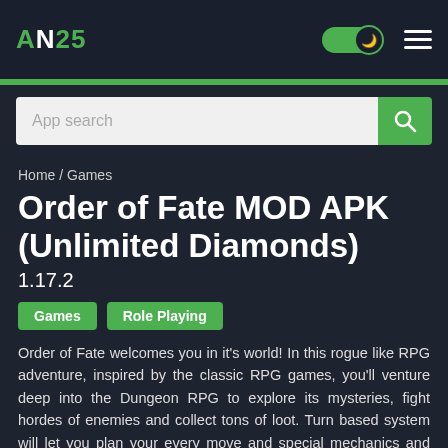AN25
[Figure (screenshot): App search bar with search icon on green button]
Home / Games
Order of Fate MOD APK (Unlimited Diamonds)
1.17.2
Games
Role Playing
Order of Fate welcomes you in it's world! In this rogue like RPG adventure, inspired by the classic RPG games, you'll venture deep into the Dungeon RPG to explore its mysteries, fight hordes of enemies and collect tons of loot. Turn based system will let you plan your every move and special mechanics and interactions will put a twist on the tactical